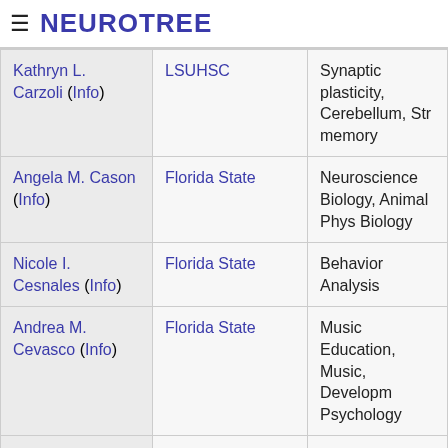≡ NEUROTREE
| Name | Institution | Area |
| --- | --- | --- |
| Kathryn L. Carzoli (Info) | LSUHSC | Synaptic plasticity, Cerebellum, Str… memory |
| Angela M. Cason (Info) | Florida State | Neuroscience Biology, Animal Phys… Biology |
| Nicole I. Cesnales (Info) | Florida State | Behavior Analysis |
| Andrea M. Cevasco (Info) | Florida State | Music Education, Music, Developm… Psychology |
| Barbara Chaddock (Info) |  |  |
| Thomas E. Chaddock (Info) |  |  |
| James "Brad" … | University of … | Ingestive Behavior, Thermoregulati… |